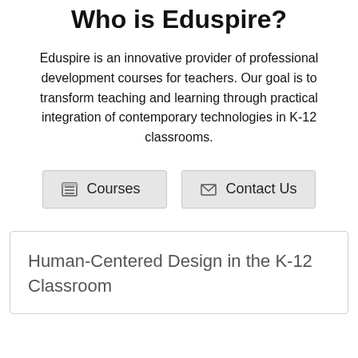Who is Eduspire?
Eduspire is an innovative provider of professional development courses for teachers. Our goal is to transform teaching and learning through practical integration of contemporary technologies in K-12 classrooms.
[Figure (other): Two buttons: 'Courses' with a list/table icon, and 'Contact Us' with an envelope icon]
Human-Centered Design in the K-12 Classroom